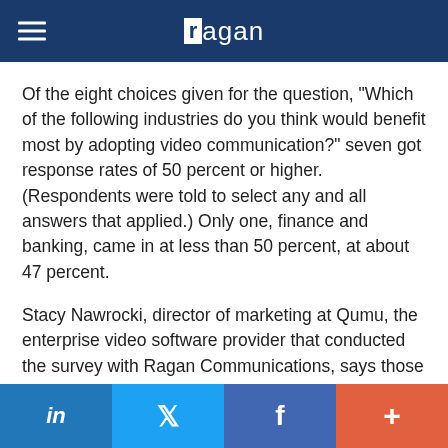ragan
Of the eight choices given for the question, “Which of the following industries do you think would benefit most by adopting video communication?” seven got response rates of 50 percent or higher. (Respondents were told to select any and all answers that applied.) Only one, finance and banking, came in at less than 50 percent, at about 47 percent.
Stacy Nawrocki, director of marketing at Qumu, the enterprise video software provider that conducted the survey with Ragan Communications, says those numbers are encouraging.
“Across the board, video is something people want regardless of what industry they’re in,” she says.
in | Twitter | f | +